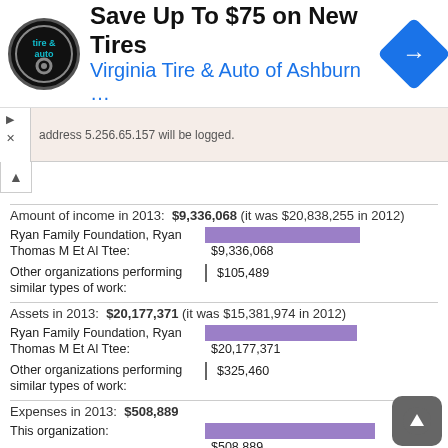[Figure (screenshot): Advertisement banner for Virginia Tire & Auto of Ashburn offering savings up to $75 on new tires, with logo and navigation icon]
address 5.256.65.157 will be logged.
Amount of income in 2013: $9,336,068 (it was $20,838,255 in 2012)
[Figure (bar-chart): Income comparison]
Assets in 2013: $20,177,371 (it was $15,381,974 in 2012)
[Figure (bar-chart): Assets comparison]
Expenses in 2013: $508,889
[Figure (bar-chart): Expenses comparison]